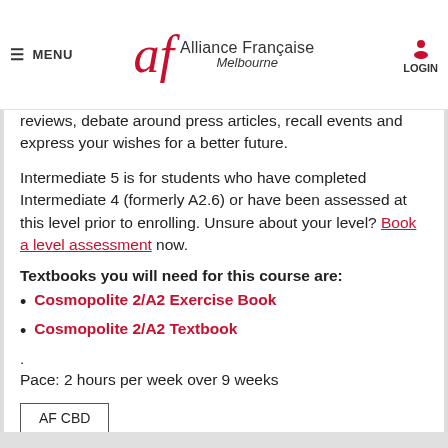MENU | Alliance Française Melbourne | LOGIN
reviews, debate around press articles, recall events and express your wishes for a better future.
Intermediate 5 is for students who have completed Intermediate 4 (formerly A2.6) or have been assessed at this level prior to enrolling. Unsure about your level? Book a level assessment now.
Textbooks you will need for this course are:
Cosmopolite 2/A2 Exercise Book
Cosmopolite 2/A2 Textbook
.
Pace: 2 hours per week over 9 weeks
AF CBD